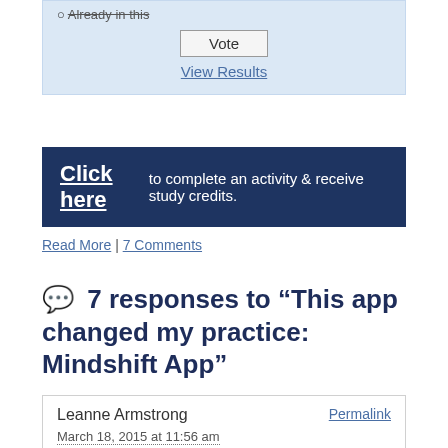[Figure (other): Poll widget with light blue background showing radio button, Vote button, and View Results link]
[Figure (other): Dark navy banner: Click here to complete an activity & receive study credits.]
Read More | 7 Comments
7 responses to “This app changed my practice: Mindshift App”
Leanne Armstrong
March 18, 2015 at 11:56 am
thanks for this valuable tid-bit